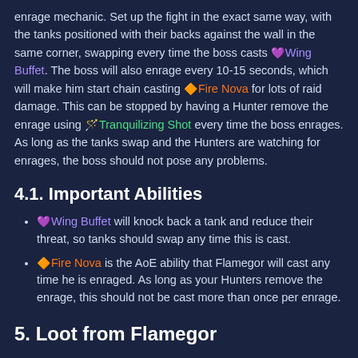enrage mechanic. Set up the fight in the exact same way, with the tanks positioned with their backs against the wall in the same corner, swapping every time the boss casts Wing Buffet. The boss will also enrage every 10-15 seconds, which will make him start chain casting Fire Nova for lots of raid damage. This can be stopped by having a Hunter remove the enrage using Tranquilizing Shot every time the boss enrages. As long as the tanks swap and the Hunters are watching for enrages, the boss should not pose any problems.
4.1. Important Abilities
Wing Buffet will knock back a tank and reduce their threat, so tanks should swap any time this is cast.
Fire Nova is the AoE ability that Flamegor will cast any time he is enraged. As long as your Hunters remove the enrage, this should not be cast more than once per enrage.
5. Loot from Flamegor
ADVERTISEMENT